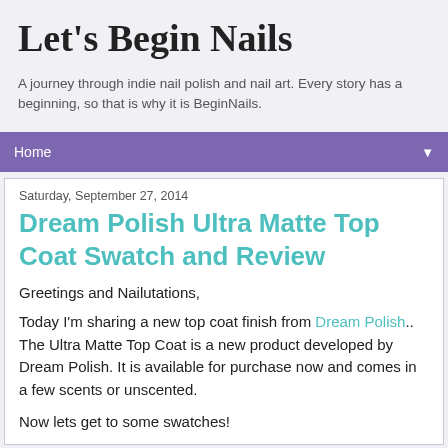Let's Begin Nails
A journey through indie nail polish and nail art. Every story has a beginning, so that is why it is BeginNails.
Home ▼
Saturday, September 27, 2014
Dream Polish Ultra Matte Top Coat Swatch and Review
Greetings and Nailutations,
Today I'm sharing a new top coat finish from Dream Polish..  The Ultra Matte Top Coat is a new product developed by Dream Polish.  It is available for purchase now and comes in a few scents or unscented.
Now lets get to some swatches!